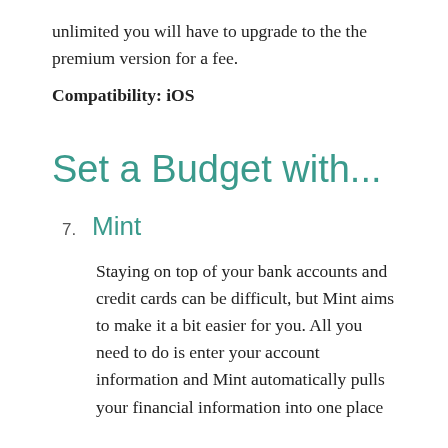unlimited you will have to upgrade to the the premium version for a fee.
Compatibility: iOS
Set a Budget with...
7. Mint
Staying on top of your bank accounts and credit cards can be difficult, but Mint aims to make it a bit easier for you. All you need to do is enter your account information and Mint automatically pulls your financial information into one place